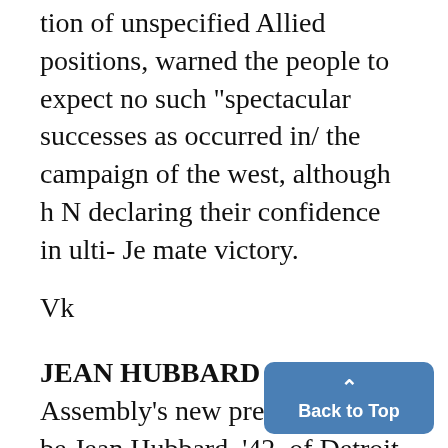tion of unspecified Allied positions, warned the people to expect no such "spectacular successes as occurred in/ the campaign of the west, although h N declaring their confidence in ulti- Je mate victory.
Vk
JEAN HUBBARD
Assembly's new president will be Jean Hubbard, '42, of Detroit, it announced last night at the an Installation Ban...